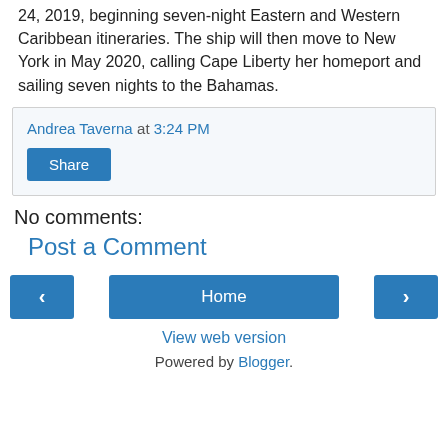Ready to book? The Oasis of the Seas will set sail on Nov 24, 2019, beginning seven-night Eastern and Western Caribbean itineraries. The ship will then move to New York in May 2020, calling Cape Liberty her homeport and sailing seven nights to the Bahamas.
Andrea Taverna at 3:24 PM
Share
No comments:
Post a Comment
‹
Home
›
View web version
Powered by Blogger.